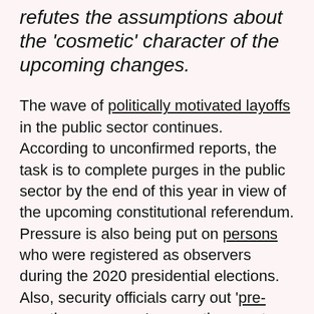refutes the assumptions about the 'cosmetic' character of the upcoming changes.
The wave of politically motivated layoffs in the public sector continues. According to unconfirmed reports, the task is to complete purges in the public sector by the end of this year in view of the upcoming constitutional referendum. Pressure is also being put on persons who were registered as observers during the 2020 presidential elections. Also, security officials carry out 'pre-emptive measures' across the country (conversations, detentions, house inspections and searches) to Belarusians who have administrative charge record for participating in the protests.
Holding a constitutional referendum has been identified as one of the priorities for security